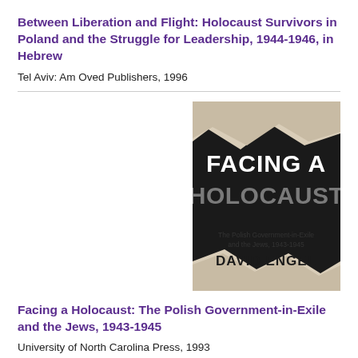Between Liberation and Flight: Holocaust Survivors in Poland and the Struggle for Leadership, 1944-1946, in Hebrew
Tel Aviv: Am Oved Publishers, 1996
[Figure (photo): Book cover of 'Facing a Holocaust: The Polish Government-in-Exile and the Jews, 1943-1945' by David Engel. Black and white cover with large bold text 'FACING A HOLOCAUST' and subtitle text below.]
Facing a Holocaust: The Polish Government-in-Exile and the Jews, 1943-1945
University of North Carolina Press, 1993